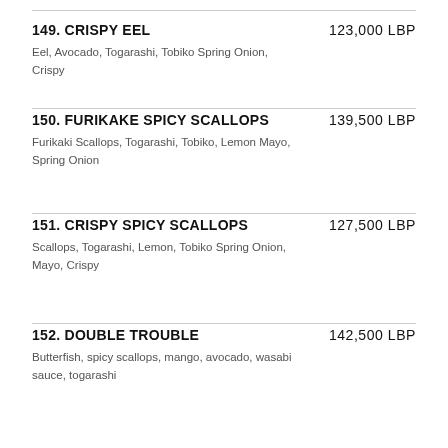149. CRISPY EEL — 123,000 LBP — Eel, Avocado, Togarashi, Tobiko Spring Onion, Crispy
150. FURIKAKE SPICY SCALLOPS — 139,500 LBP — Furikaki Scallops, Togarashi, Tobiko, Lemon Mayo, Spring Onion
151. CRISPY SPICY SCALLOPS — 127,500 LBP — Scallops, Togarashi, Lemon, Tobiko Spring Onion, Mayo, Crispy
152. DOUBLE TROUBLE — 142,500 LBP — Butterfish, spicy scallops, mango, avocado, wasabi sauce, togarashi